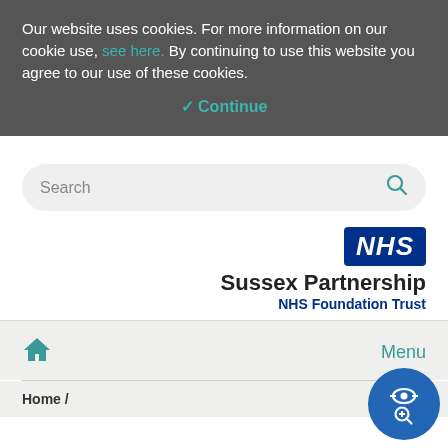Our website uses cookies. For more information on our cookie use, see here. By continuing to use this website you agree to our use of these cookies.
✓ Continue
[Figure (screenshot): Search bar with placeholder text 'Search' and a teal search icon on the right, rounded rectangle style]
[Figure (logo): NHS logo badge (blue background, white italic NHS text) above 'Sussex Partnership' in bold black and 'NHS Foundation Trust' in bold dark blue]
[Figure (screenshot): Navigation bar with teal home icon on left and 'Menu' text on right, on light grey background]
Home /
[Figure (illustration): Circular blue Recite Me accessibility widget button with eye and search icons]